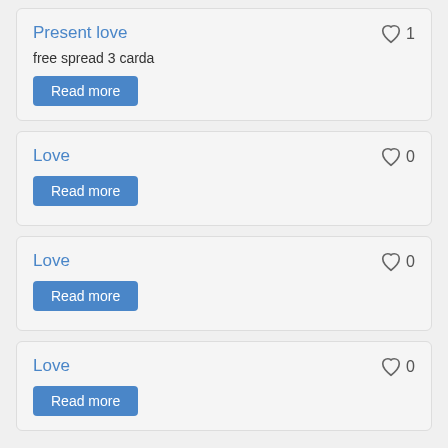Present love
free spread 3 carda
Read more
Love
Read more
Love
Read more
Love
Read more